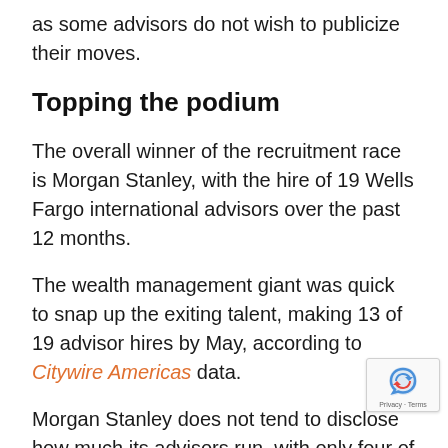as some advisors do not wish to publicize their moves.
Topping the podium
The overall winner of the recruitment race is Morgan Stanley, with the hire of 19 Wells Fargo international advisors over the past 12 months.
The wealth management giant was quick to snap up the exiting talent, making 13 of 19 advisor hires by May, according to Citywire Americas data.
Morgan Stanley does not tend to disclose how much its advisors run, with only four of our matches including their clients' assets.
However, turning once again to the average